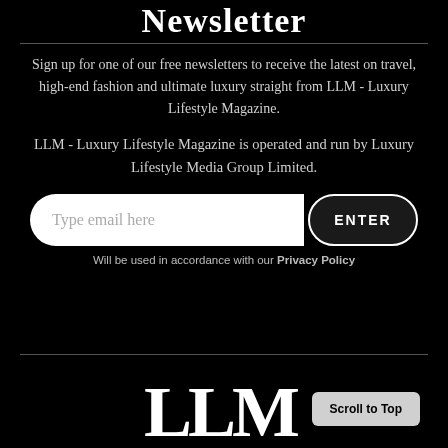Newsletter
Sign up for one of our free newsletters to receive the latest on travel, high-end fashion and ultimate luxury straight from LLM - Luxury Lifestyle Magazine.
LLM - Luxury Lifestyle Magazine is operated and run by Luxury Lifestyle Media Group Limited.
Type email here
ENTER
Will be used in accordance with our Privacy Policy
LLM
Scroll to Top